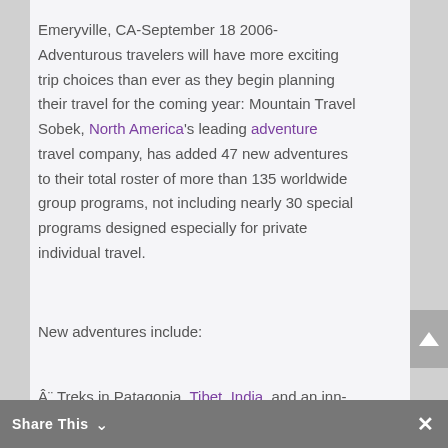Emeryville, CA-September 18 2006-Adventurous travelers will have more exciting trip choices than ever as they begin planning their travel for the coming year: Mountain Travel Sobek, North America's leading adventure travel company, has added 47 new adventures to their total roster of more than 135 worldwide group programs, not including nearly 30 special programs designed especially for private individual travel.
New adventures include:
Â¨ Treks in Patagonia, Tibet, India, and an inn-to-inn trek to Machu Pi
Share This ∨  ×